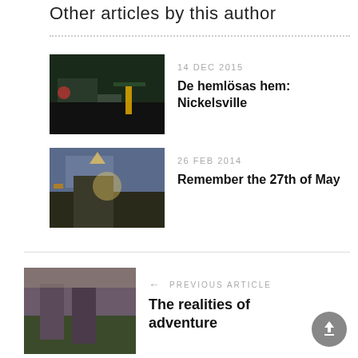Other articles by this author
[Figure (photo): Night-time outdoor scene with fence and buildings, dark tones]
14 DEC 2015
De hemlösas hem: Nickelsville
[Figure (photo): Outdoor scene with dramatic sky, sunlight, and a flag on a building]
26 FEB 2014
Remember the 27th of May
[Figure (photo): Two young women sitting on a bench outdoors]
← PREVIOUS ARTICLE
The realities of adventure